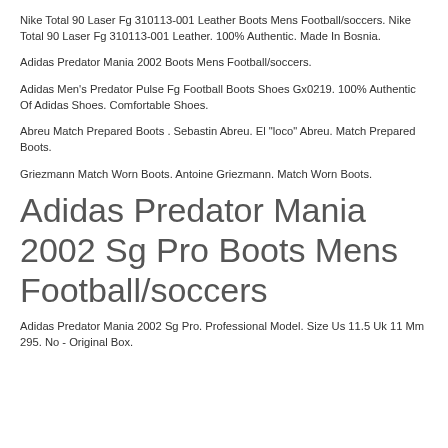Nike Total 90 Laser Fg 310113-001 Leather Boots Mens Football/soccers. Nike Total 90 Laser Fg 310113-001 Leather. 100% Authentic. Made In Bosnia.
Adidas Predator Mania 2002 Boots Mens Football/soccers.
Adidas Men's Predator Pulse Fg Football Boots Shoes Gx0219. 100% Authentic Of Adidas Shoes. Comfortable Shoes.
Abreu Match Prepared Boots . Sebastin Abreu. El "loco" Abreu. Match Prepared Boots.
Griezmann Match Worn Boots. Antoine Griezmann. Match Worn Boots.
Adidas Predator Mania 2002 Sg Pro Boots Mens Football/soccers
Adidas Predator Mania 2002 Sg Pro. Professional Model. Size Us 11.5 Uk 11 Mm 295. No - Original Box.